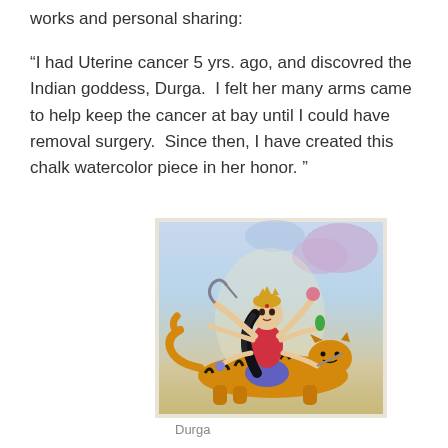works and personal sharing:
“I had Uterine cancer 5 yrs. ago, and discovred the Indian goddess, Durga.  I felt her many arms came to help keep the cancer at bay until I could have removal surgery.  Since then, I have created this chalk watercolor piece in her honor. ”
[Figure (illustration): A chalk watercolor artwork depicting the Indian goddess Durga with multiple arms, wearing a red and blue outfit, with long black hair, riding or standing beside a tiger with black stripes on an orange/yellow background with soft blue and purple clouds.]
Durga